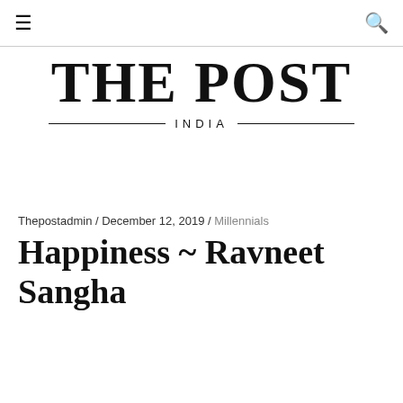☰  🔍
[Figure (logo): THE POST INDIA logo — large bold serif 'THE POST' with 'INDIA' in spaced caps below, flanked by horizontal lines]
Thepostadmin / December 12, 2019 / Millennials
Happiness ~ Ravneet Sangha